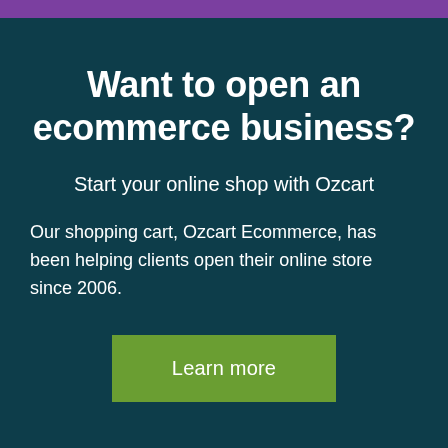Want to open an ecommerce business?
Start your online shop with Ozcart
Our shopping cart, Ozcart Ecommerce, has been helping clients open their online store since 2006.
Learn more